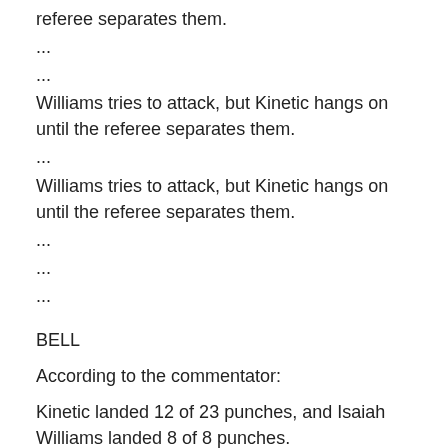referee separates them.
...
...
Williams tries to attack, but Kinetic hangs on until the referee separates them.
...
Williams tries to attack, but Kinetic hangs on until the referee separates them.
...
...
...
BELL
According to the commentator:
Kinetic landed 12 of 23 punches, and Isaiah Williams landed 8 of 8 punches.